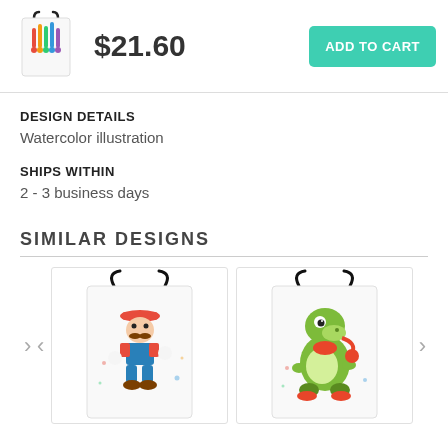[Figure (photo): Tote bag with watercolor illustration thumbnail]
$21.60
ADD TO CART
DESIGN DETAILS
Watercolor illustration
SHIPS WITHIN
2 - 3 business days
SIMILAR  DESIGNS
[Figure (photo): Tote bag with Mario watercolor illustration]
[Figure (photo): Tote bag with Yoshi watercolor illustration]